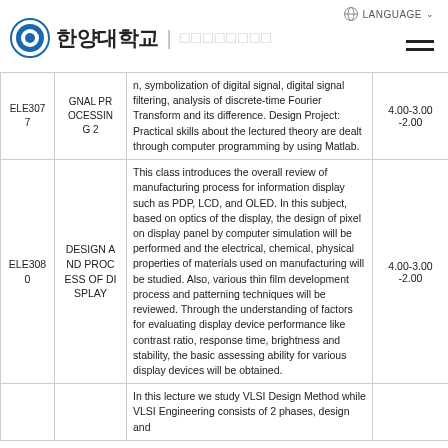한양대학교 | □□□□□□□□ LANGUAGE
| Code | Name | Description | Credits |
| --- | --- | --- | --- |
| ELE3077 | DIGITAL SIGNAL PROCESSING 2 | n, symbolization of digital signal, digital signal filtering, analysis of discrete-time Fourier Transform and its difference. Design Project: Practical skills about the lectured theory are dealt through computer programming by using Matlab. | 4.00-3.00-2.00 |
| ELE3080 | DESIGN AND PROCESS OF DISPLAY | This class introduces the overall review of manufacturing process for information display such as PDP, LCD, and OLED. In this subject, based on optics of the display, the design of pixel on display panel by computer simulation will be performed and the electrical, chemical, physical properties of materials used on manufacturing will be studied. Also, various thin film development process and patterning techniques will be reviewed. Through the understanding of factors for evaluating display device performance like contrast ratio, response time, brightness and stability, the basic assessing ability for various display devices will be obtained. | 4.00-3.00-2.00 |
|  |  | In this lecture we study VLSI Design Method while VLSI Engineering consists of 2 phases, design and |  |